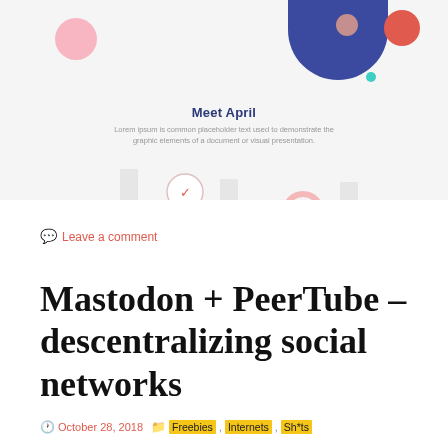[Figure (screenshot): Screenshot of a website header with decorative circles, an arc in navy blue, and a 'Meet April' section with Lorem ipsum placeholder text and partial bar chart elements below.]
Leave a comment
Mastodon + PeerTube – descentralizing social networks
October 28, 2018  Freebies, Internets, Sh*ts